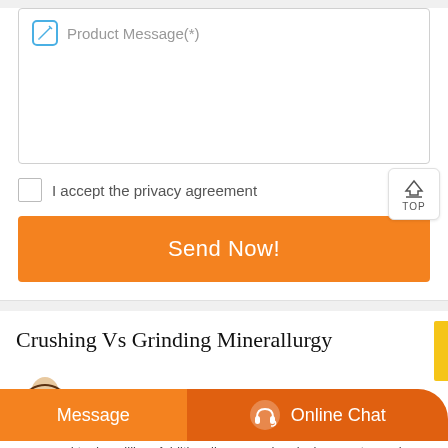Product Message(*)
I accept the privacy agreement
Send Now!
Crushing Vs Grinding Minerallurgy
Message
Online Chat
compared to dry milling. Additionally, some chemical reagents can be